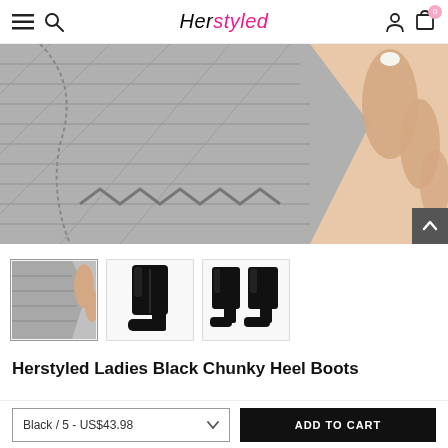Herstyled — navigation bar with hamburger menu, search, logo, account and cart icons
[Figure (photo): Close-up photo of a black patent leather ankle boot being held/examined by a person's hand with white manicure. Grey/black textured leather visible on left, skin-toned hand on right.]
[Figure (photo): Thumbnail 1: Close-up of black patent leather boot held in hand — the currently selected/active thumbnail.]
[Figure (photo): Thumbnail 2: Side view of a single black chunky heel ankle boot on white background.]
[Figure (photo): Thumbnail 3: Pair of black chunky heel ankle boots shown together on white background.]
Herstyled Ladies Black Chunky Heel Boots
Black / 5 - US$43.98
ADD TO CART